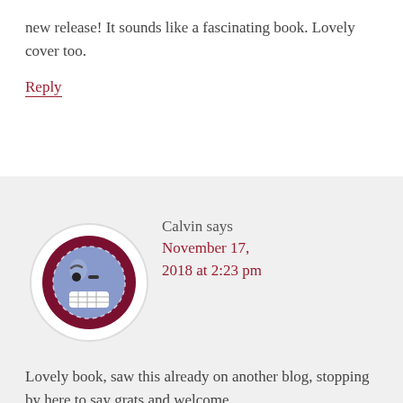new release! It sounds like a fascinating book. Lovely cover too.
Reply
Calvin says
November 17, 2018 at 2:23 pm
Lovely book, saw this already on another blog, stopping by here to say grats and welcome